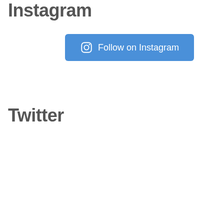Instagram
[Figure (other): Blue button with Instagram icon and text 'Follow on Instagram']
Twitter